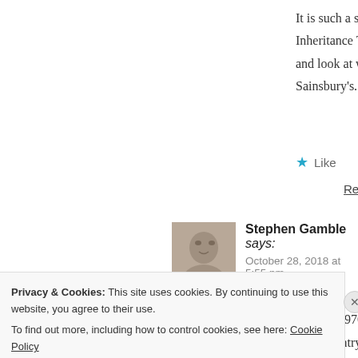It is such a shame that a family business like D... Inheritance Tax liability. I remember when Sai... and look at what is now proposed with merger... Sainsbury's.
Like
Reply
Stephen Gamble says:
October 28, 2018 at 5:55 pm
Around 1970 the hostel at Ladbroke Grove ho... west country.
Privacy & Cookies: This site uses cookies. By continuing to use this website, you agree to their use.
To find out more, including how to control cookies, see here: Cookie Policy
Close and accept